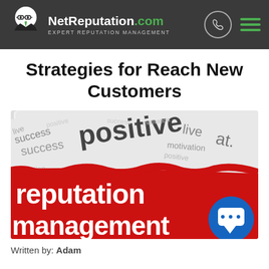NetReputation.com EXPERT REPUTATION MANAGEMENT
Strategies for Reach New Customers
[Figure (illustration): Reputation management themed image showing the words 'reputation management' in large white text on a red banner, with a word cloud background including words like 'positive', 'success', 'motivation'. A blue chat bubble icon is visible in the lower right corner.]
Written by: Adam